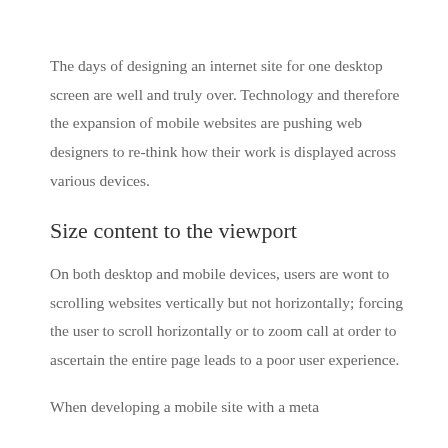The days of designing an internet site for one desktop screen are well and truly over. Technology and therefore the expansion of mobile websites are pushing web designers to re-think how their work is displayed across various devices.
Size content to the viewport
On both desktop and mobile devices, users are wont to scrolling websites vertically but not horizontally; forcing the user to scroll horizontally or to zoom call at order to ascertain the entire page leads to a poor user experience.
When developing a mobile site with a meta